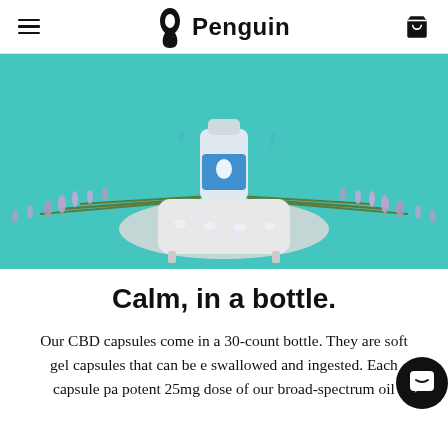Penguin (logo with hamburger menu and cart icon)
[Figure (photo): Product photo of a Penguin CBD capsules bottle resting in a miniature white ceramic bathtub filled with clear gel capsules, surrounded by sprigs of lavender, on a round marble disc, against a teal/turquoise background.]
Calm, in a bottle.
Our CBD capsules come in a 30-count bottle. They are soft gel capsules that can be easily swallowed and ingested. Each capsule packs a potent 25mg dose of our broad-spectrum oil